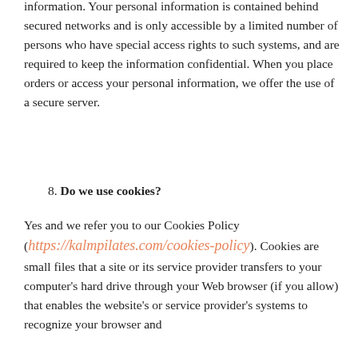information. Your personal information is contained behind secured networks and is only accessible by a limited number of persons who have special access rights to such systems, and are required to keep the information confidential. When you place orders or access your personal information, we offer the use of a secure server.
8. Do we use cookies?
Yes and we refer you to our Cookies Policy (https://kalmpilates.com/cookies-policy). Cookies are small files that a site or its service provider transfers to your computer's hard drive through your Web browser (if you allow) that enables the website's or service provider's systems to recognize your browser and